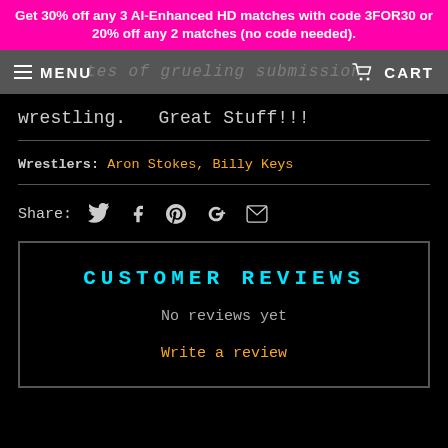Get 30% off any 3 AI-Enhanced HD matches with code 3FOR30 or 20% off any 2 matches (no code needed).
MENU  CART
wrestling.  Great Stuff!!!
Wrestlers: Aron Stokes, Billy Keys
Share:
CUSTOMER REVIEWS
No reviews yet
Write a review